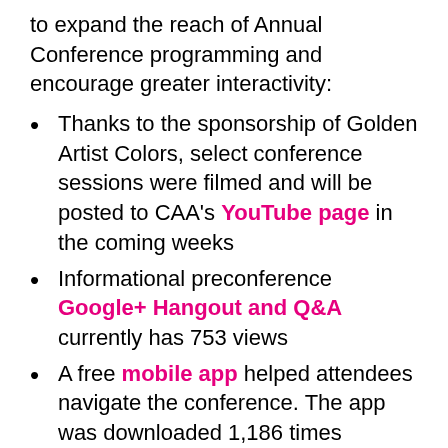to expand the reach of Annual Conference programming and encourage greater interactivity:
Thanks to the sponsorship of Golden Artist Colors, select conference sessions were filmed and will be posted to CAA's YouTube page in the coming weeks
Informational preconference Google+ Hangout and Q&A currently has 753 views
A free mobile app helped attendees navigate the conference. The app was downloaded 1,186 times
Columbia College Chicago students hosted the conference blog, reporting on panels, receptions, exhibitions, and participant experience
ARTspace organized Art2Make, an exhibition of 3D printed art